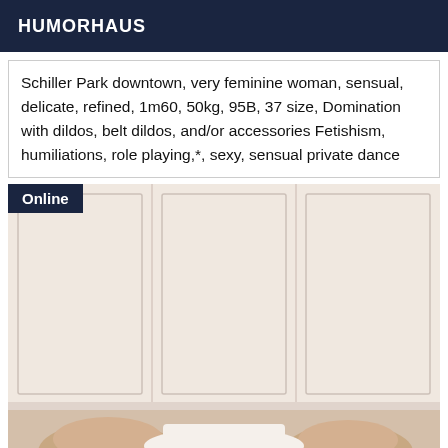HUMORHAUS
Schiller Park downtown, very feminine woman, sensual, delicate, refined, 1m60, 50kg, 95B, 37 size, Domination with dildos, belt dildos, and/or accessories Fetishism, humiliations, role playing,*, sexy, sensual private dance
[Figure (photo): Photo with Online badge overlay. Room with white wainscoting wall panels in background. Lower portion shows legs of a person.]